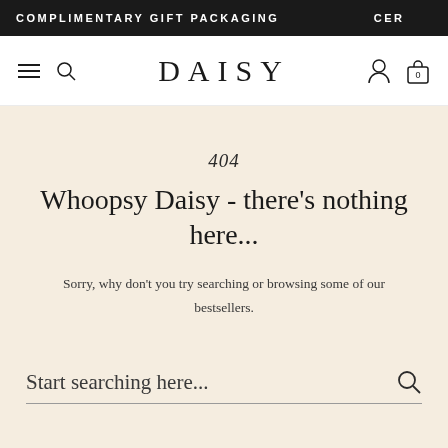COMPLIMENTARY GIFT PACKAGING  CER
DAISY
404
Whoopsy Daisy - there’s nothing here...
Sorry, why don’t you try searching or browsing some of our bestsellers.
Start searching here...